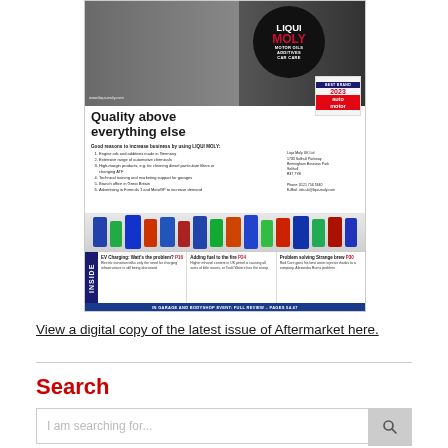[Figure (illustration): Magazine cover for Aftermarket magazine featuring a LIQUI MOLY advertisement. Shows a mechanic in a garage, LIQUI MOLY logo circle (Motor Oils, Additives, Car Care), headline 'Quality above everything else', list of good reasons to use LIQUI MOLY, product bottles, INSIDE section with articles about EV Charging (P16), Adding fuel (P24), and Strange brew (P30).]
View a digital copy of the latest issue of Aftermarket here.
Search